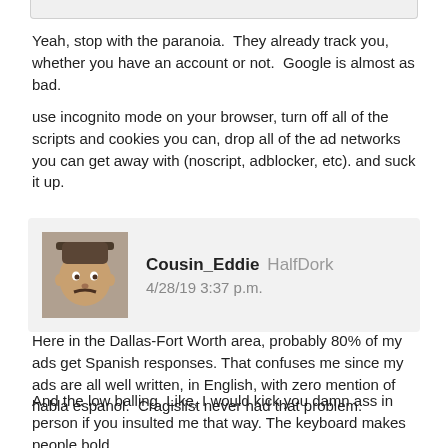Yeah, stop with the paranoia.  They already track you, whether you have an account or not.  Google is almost as bad.
use incognito mode on your browser, turn off all of the scripts and cookies you can, drop all of the ad networks you can get away with (noscript, adblocker, etc). and suck it up.
Cousin_Eddie HalfDork
4/28/19 3:37 p.m.
Here in the Dallas-Fort Worth area, probably 80% of my ads get Spanish responses. That confuses me since my ads are all well written, in English, with zero mention of habla espanol.  Cragislist never had that problem.
And the low balling. Like, I would kick you damn ass in person if you insulted me that way. The keyboard makes people bold.